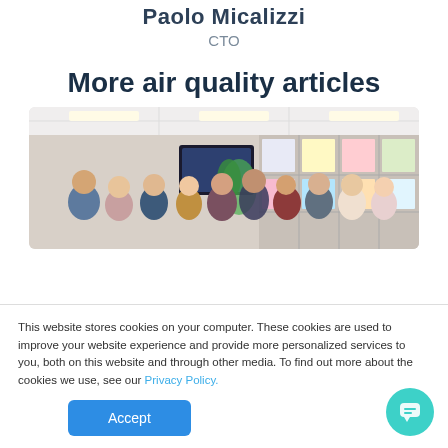Paolo Micalizzi
CTO
More air quality articles
[Figure (photo): Group photo of approximately 12 people in an office or meeting room with posters and binders on the wall in the background.]
This website stores cookies on your computer. These cookies are used to improve your website experience and provide more personalized services to you, both on this website and through other media. To find out more about the cookies we use, see our Privacy Policy.